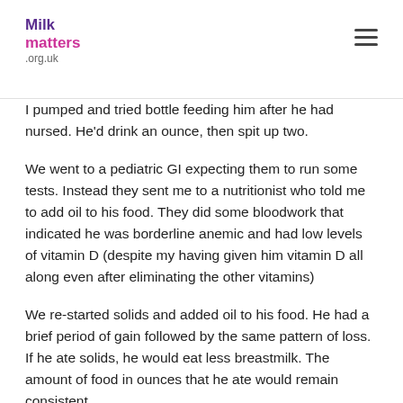Milk matters .org.uk
I pumped and tried bottle feeding him after he had nursed. He'd drink an ounce, then spit up two.
We went to a pediatric GI expecting them to run some tests. Instead they sent me to a nutritionist who told me to add oil to his food. They did some bloodwork that indicated he was borderline anemic and had low levels of vitamin D (despite my having given him vitamin D all along even after eliminating the other vitamins)
We re-started solids and added oil to his food. He had a brief period of gain followed by the same pattern of loss. If he ate solids, he would eat less breastmilk. The amount of food in ounces that he ate would remain consistent.